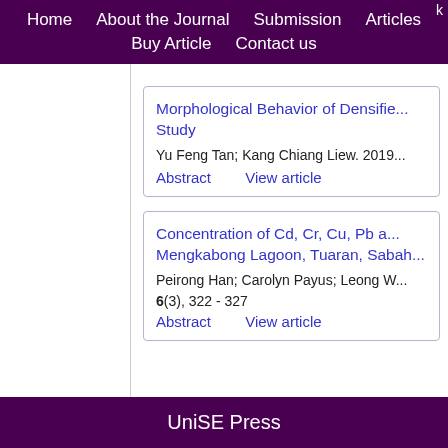Home   About the Journal   Submission   Articles   Buy Article   Contact us
Morphological Behavior of Densified... Study
Yu Feng Tan; Kang Chiang Liew. 2019...
Abstract   View article
Concentration of Cd, Cr, Cu, Pb a... Mengkabong Lagoon, Tuaran, Sabah...
Peirong Han; Carolyn Payus; Leong W...
6(3), 322 - 327
Abstract   View article
UniSE Press